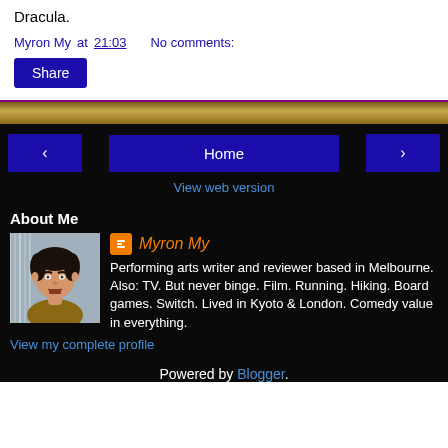Dracula.
Myron My at 21:03   No comments:
Share
[Figure (photo): Gold/brown decorative banner bar separating white and black sections]
‹  Home  ›
View web version
About Me
[Figure (photo): Profile photo of a man with dark hair, mouth open, wearing a brown/golden top]
Myron My
Performing arts writer and reviewer based in Melbourne. Also: TV. But never binge. Film. Running. Hiking. Board games. Switch. Lived in Kyoto & London. Comedy value in everything.
View my complete profile
Powered by Blogger.